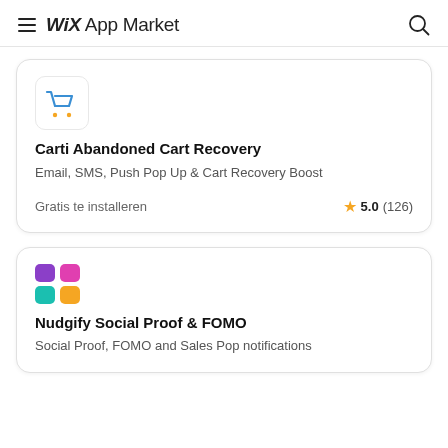Wix App Market
[Figure (screenshot): Carti Abandoned Cart Recovery app card with shopping cart icon, title, description, price and rating]
Carti Abandoned Cart Recovery
Email, SMS, Push Pop Up & Cart Recovery Boost
Gratis te installeren
5.0 (126)
[Figure (screenshot): Nudgify Social Proof & FOMO app card with colorful grid icon, title and description]
Nudgify Social Proof & FOMO
Social Proof, FOMO and Sales Pop notifications